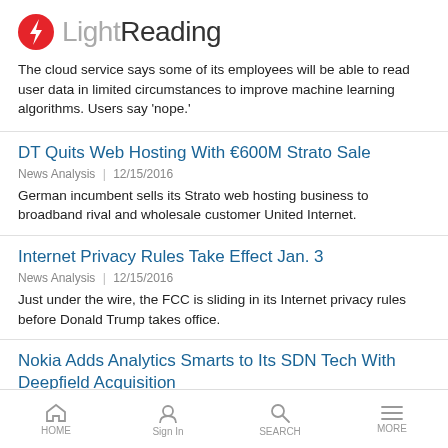LightReading
The cloud service says some of its employees will be able to read user data in limited circumstances to improve machine learning algorithms. Users say 'nope.'
DT Quits Web Hosting With €600M Strato Sale
News Analysis | 12/15/2016
German incumbent sells its Strato web hosting business to broadband rival and wholesale customer United Internet.
Internet Privacy Rules Take Effect Jan. 3
News Analysis | 12/15/2016
Just under the wire, the FCC is sliding in its Internet privacy rules before Donald Trump takes office.
Nokia Adds Analytics Smarts to Its SDN Tech With Deepfield Acquisition
HOME   Sign In   SEARCH   MORE